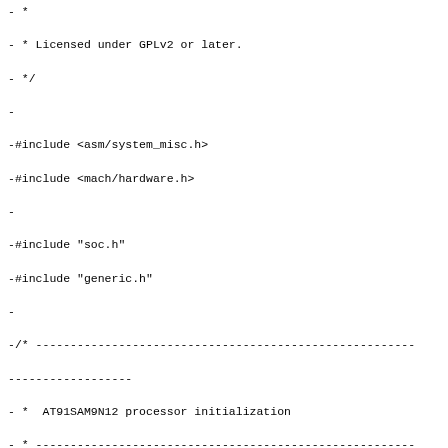- *
- * Licensed under GPLv2 or later.
- */
-
-#include <asm/system_misc.h>
-#include <mach/hardware.h>
-
-#include "soc.h"
-#include "generic.h"
-
-/* --------------------------------------------------------
------------------
- *  AT91SAM9N12 processor initialization
- * --------------------------------------------------------
------------------ */
-static void __init at91sam9n12_initialize(void)
-{
-        arm_pm_idle = at91sam9_idle;
-}
-
-AT91_SOC_START(at91sam9n12)
-        .init = at91sam9n12_initialize,
-AT91_SOC_END
diff --git a/arch/arm/mach-at91/at91sam9rl.c
b/arch/arm/mach-at91/at91sam9rl.c
deleted file mode 100644
index a585ff3adf96..000000000000
--- a/arch/arm/mach-at91/at91sam9rl.c
+++ /dev/null
@@ -1,26 +0,0 @@